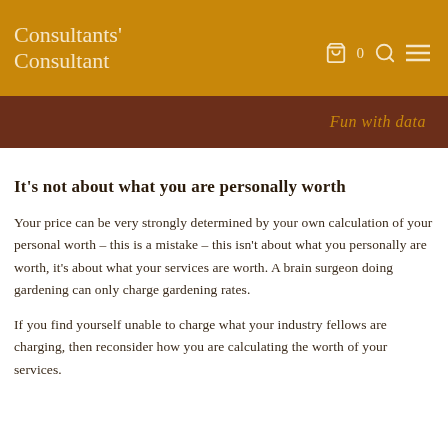Consultants' Consultant
Fun with data
It's not about what you are personally worth
Your price can be very strongly determined by your own calculation of your personal worth – this is a mistake – this isn't about what you personally are worth, it's about what your services are worth. A brain surgeon doing gardening can only charge gardening rates.
If you find yourself unable to charge what your industry fellows are charging, then reconsider how you are calculating the worth of your services.